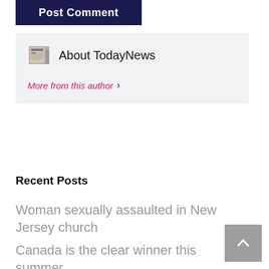[Figure (screenshot): Post Comment button — dark navy background with white bold text]
About TodayNews
More from this author >
Recent Posts
Woman sexually assaulted in New Jersey church
Canada is the clear winner this summer
Jon Klassen: People Want to See Other